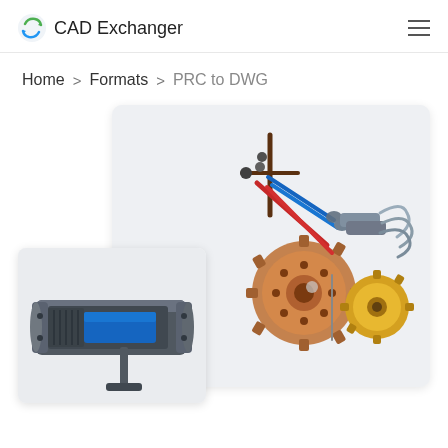CAD Exchanger
Home > Formats > PRC to DWG
[Figure (screenshot): CAD Exchanger website screenshot showing PRC to DWG format conversion page with 3D mechanical CAD models: a robotic arm assembly with gears (copper and gold colored) and linkages (red and blue), and a cylindrical mechanical component (cross-sectional view in dark grey and blue). Displayed as two overlapping cards on a light grey background.]